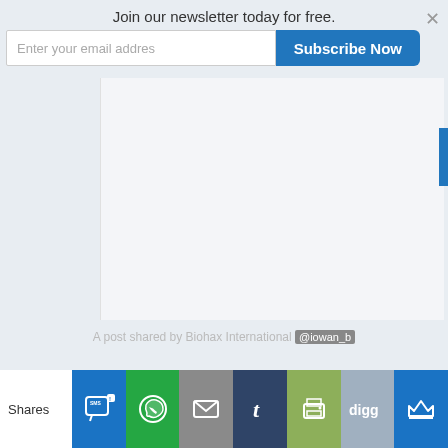Join our newsletter today for free.
Enter your email addres
Subscribe Now
[Figure (screenshot): Large white/light gray empty content area, part of a webpage below a newsletter subscribe banner]
A post shared by Biohax International (@iowan_b
Shares
[Figure (infographic): Social share bar with icons: SMS (blue), WhatsApp (green), Email (gray), Tumblr (dark blue), Print (olive/green), Digg (light blue/gray), Crown (blue)]